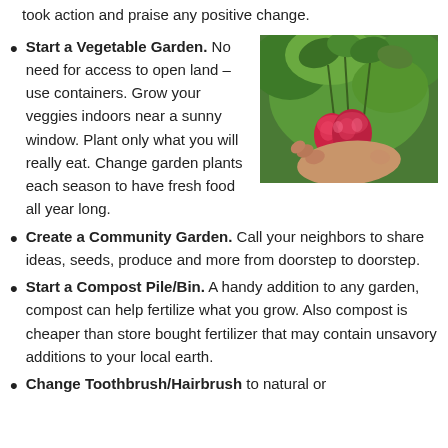took action and praise any positive change.
Start a Vegetable Garden. No need for access to open land – use containers. Grow your veggies indoors near a sunny window. Plant only what you will really eat. Change garden plants each season to have fresh food all year long.
[Figure (photo): A hand holding freshly picked radishes with green leaves against a green background]
Create a Community Garden. Call your neighbors to share ideas, seeds, produce and more from doorstep to doorstep.
Start a Compost Pile/Bin. A handy addition to any garden, compost can help fertilize what you grow. Also compost is cheaper than store bought fertilizer that may contain unsavory additions to your local earth.
Change Toothbrush/Hairbrush to natural or